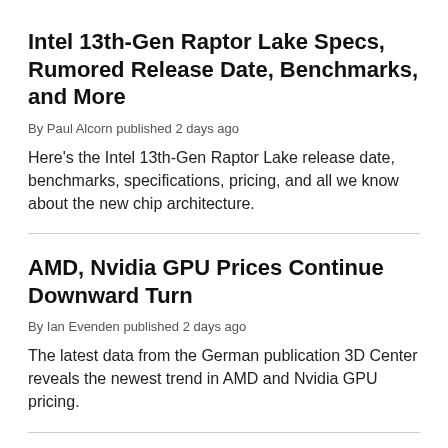Intel 13th-Gen Raptor Lake Specs, Rumored Release Date, Benchmarks, and More
By Paul Alcorn published 2 days ago
Here's the Intel 13th-Gen Raptor Lake release date, benchmarks, specifications, pricing, and all we know about the new chip architecture.
AMD, Nvidia GPU Prices Continue Downward Turn
By Ian Evenden published 2 days ago
The latest data from the German publication 3D Center reveals the newest trend in AMD and Nvidia GPU pricing.